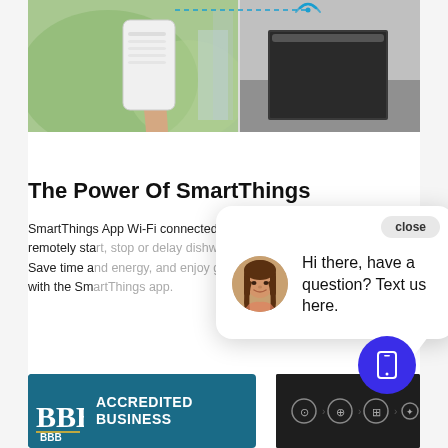[Figure (photo): Product photo showing a hand holding a smartphone and a smart dishwasher with a Wi-Fi icon above, indicating SmartThings connectivity]
The Power Of SmartThings
SmartThings App Wi-Fi connected so you can remotely start, stop or delay dishwashing cycles. Save time and energy, and enjoy greater flexibility with the SmartThings app.
[Figure (screenshot): Chat popup overlay with a close button, a circular avatar of a woman, and the message 'Hi there, have a question? Text us here.']
[Figure (logo): BBB Accredited Business logo with teal background and white text]
[Figure (photo): Dark product image at bottom right showing dishwasher control panel icons]